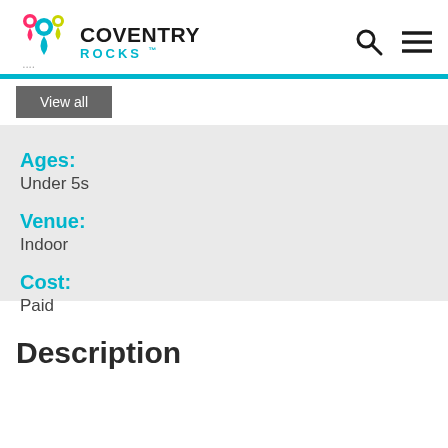COVENTRY ROCKS
View all
Ages:
Under 5s
Venue:
Indoor
Cost:
Paid
Description